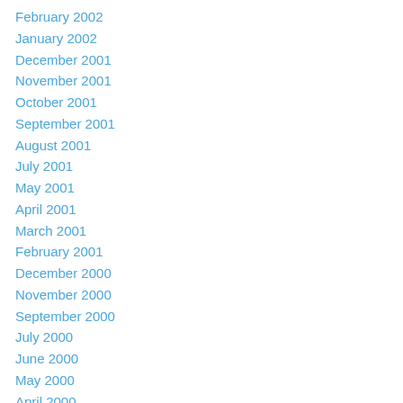February 2002
January 2002
December 2001
November 2001
October 2001
September 2001
August 2001
July 2001
May 2001
April 2001
March 2001
February 2001
December 2000
November 2000
September 2000
July 2000
June 2000
May 2000
April 2000
December 1999